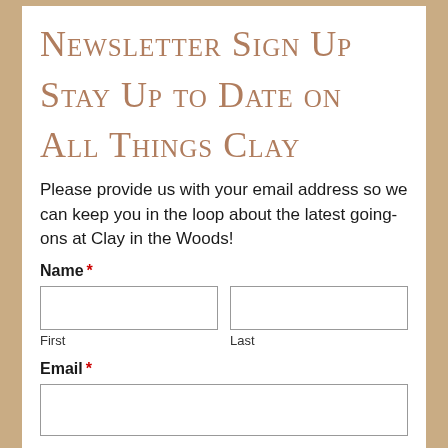Newsletter Sign Up
Stay Up to Date on All Things Clay
Please provide us with your email address so we can keep you in the loop about the latest going-ons at Clay in the Woods!
Name * [First] [Last]
Email *
[Email input]
[Submit]